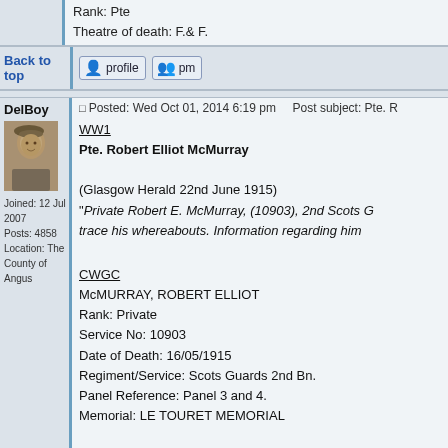Rank: Pte
Theatre of death: F.& F.
Back to top
DelBoy
[Figure (photo): Sepia portrait photo of a young man wearing a military beret]
Joined: 12 Jul 2007
Posts: 4858
Location: The County of Angus
Posted: Wed Oct 01, 2014 6:19 pm    Post subject: Pte. R
WW1
Pte. Robert Elliot McMurray

(Glasgow Herald 22nd June 1915)
"Private Robert E. McMurray, (10903), 2nd Scots G... trace his whereabouts. Information regarding him...

CWGC
McMURRAY, ROBERT ELLIOT
Rank: Private
Service No: 10903
Date of Death: 16/05/1915
Regiment/Service: Scots Guards 2nd Bn.
Panel Reference: Panel 3 and 4.
Memorial: LE TOURET MEMORIAL

SNWM
Surname: McMURRAY
Forename: Robert Elliot